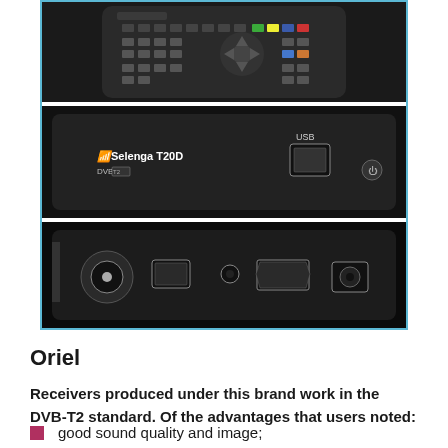[Figure (photo): Three photos of a Selenga T20D DVB-T2 TV receiver: top photo shows a remote control, middle photo shows the front face of the device with USB port and power button, bottom photo shows the rear panel with antenna input, USB, audio jack, HDMI, and power connector.]
Oriel
Receivers produced under this brand work in the DVB-T2 standard. Of the advantages that users noted:
good sound quality and image;